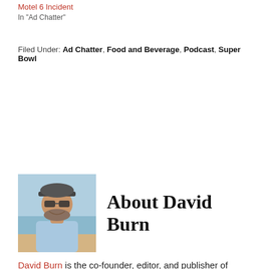Motel 6 Incident
In "Ad Chatter"
Filed Under: Ad Chatter, Food and Beverage, Podcast, Super Bowl
About David Burn
[Figure (photo): Headshot of David Burn, a bearded man wearing a cap and sunglasses, smiling outdoors near a beach]
David Burn is the co-founder, editor, and publisher of Adpulp.com. David joined the ad agency business in 1997 as a copywriter and then worked for seven agencies in five states prior to launching Bonehook in